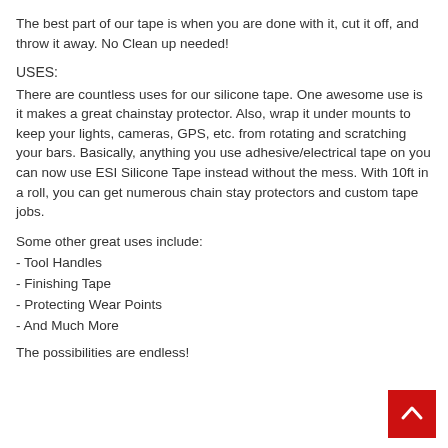The best part of our tape is when you are done with it, cut it off, and throw it away. No Clean up needed!
USES:
There are countless uses for our silicone tape. One awesome use is it makes a great chainstay protector. Also, wrap it under mounts to keep your lights, cameras, GPS, etc. from rotating and scratching your bars. Basically, anything you use adhesive/electrical tape on you can now use ESI Silicone Tape instead without the mess. With 10ft in a roll, you can get numerous chain stay protectors and custom tape jobs.
Some other great uses include:
- Tool Handles
- Finishing Tape
- Protecting Wear Points
- And Much More
The possibilities are endless!